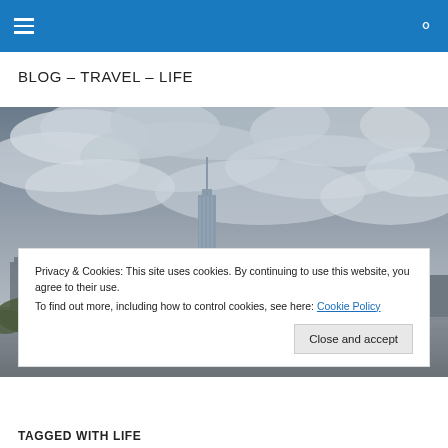☰ [menu icon] [search icon]
BLOG – TRAVEL – LIFE
[Figure (photo): Skyline of New York City with One World Trade Center under dramatic cloudy grey sky, viewed from across the water]
Privacy & Cookies: This site uses cookies. By continuing to use this website, you agree to their use.
To find out more, including how to control cookies, see here: Cookie Policy
[Close and accept button]
TAGGED WITH LIFE